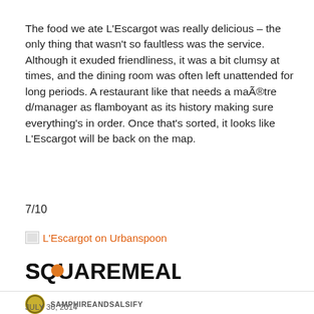The food we ate L'Escargot was really delicious – the only thing that wasn't so faultless was the service. Although it exuded friendliness, it was a bit clumsy at times, and the dining room was often left unattended for long periods. A restaurant like that needs a maître d/manager as flamboyant as its history making sure everything's in order. Once that's sorted, it looks like L'Escargot will be back on the map.
7/10
L'Escargot on Urbanspoon
[Figure (logo): SQUAREMEAL logo in black bold font with an orange circle in the letter O]
SAMPHIREANDSALSIFY
JULY 30, 2014